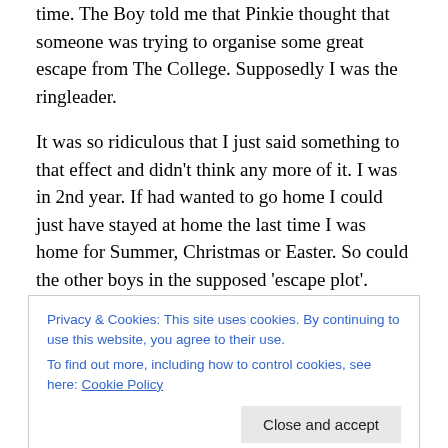time. The Boy told me that Pinkie thought that someone was trying to organise some great escape from The College. Supposedly I was the ringleader.
It was so ridiculous that I just said something to that effect and didn't think any more of it. I was in 2nd year. If had wanted to go home I could just have stayed at home the last time I was home for Summer, Christmas or Easter. So could the other boys in the supposed 'escape plot'.
Why would I, 'the mastermind', be putting so much thought into the Great Escape when I could simply stay home next
Privacy & Cookies: This site uses cookies. By continuing to use this website, you agree to their use.
To find out more, including how to control cookies, see here: Cookie Policy
Many Miles from Home